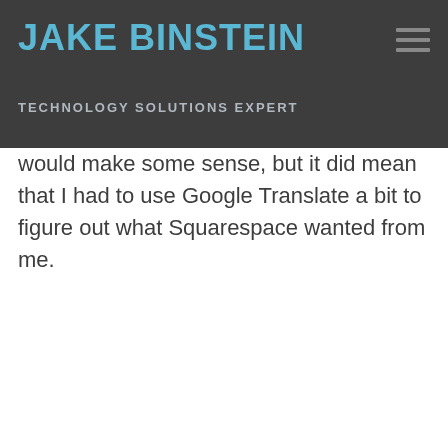JAKE BINSTEIN
TECHNOLOGY SOLUTIONS EXPERT
would make some sense, but it did mean that I had to use Google Translate a bit to figure out what Squarespace wanted from me.